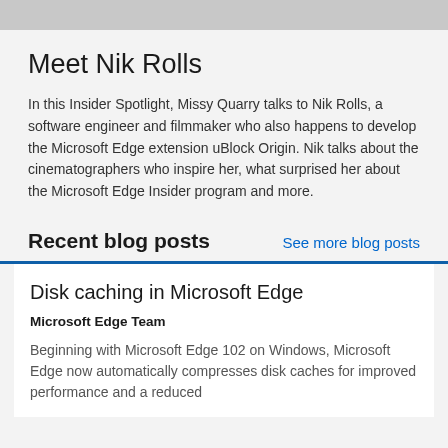[Figure (photo): Partial photo strip at top of page showing cropped images of people]
Meet Nik Rolls
In this Insider Spotlight, Missy Quarry talks to Nik Rolls, a software engineer and filmmaker who also happens to develop the Microsoft Edge extension uBlock Origin. Nik talks about the cinematographers who inspire her, what surprised her about the Microsoft Edge Insider program and more.
Recent blog posts
See more blog posts
Disk caching in Microsoft Edge
Microsoft Edge Team
Beginning with Microsoft Edge 102 on Windows, Microsoft Edge now automatically compresses disk caches for improved performance and a reduced